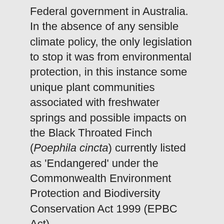Federal government in Australia. In the absence of any sensible climate policy, the only legislation to stop it was from environmental protection, in this instance some unique plant communities associated with freshwater springs and possible impacts on the Black Throated Finch (Poephila cincta) currently listed as 'Endangered' under the Commonwealth Environment Protection and Biodiversity Conservation Act 1999 (EPBC Act).
So when the approval went through and the indignation from the conservationists begaan, they led with the plants and the bird.
What were they thinking?
Just the previous day Norway's $US1 trillion sovereign wealth fund, the world's largest, tightened its investment